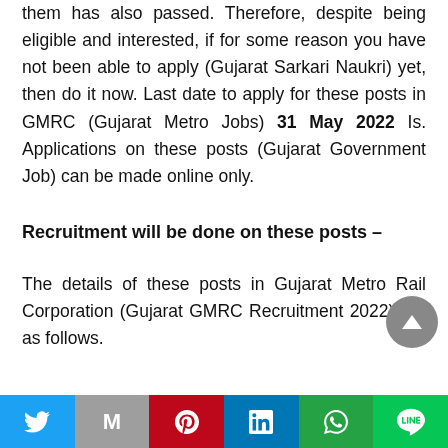them has also passed. Therefore, despite being eligible and interested, if for some reason you have not been able to apply (Gujarat Sarkari Naukri) yet, then do it now. Last date to apply for these posts in GMRC (Gujarat Metro Jobs) 31 May 2022 Is. Applications on these posts (Gujarat Government Job) can be made online only.
Recruitment will be done on these posts –
The details of these posts in Gujarat Metro Rail Corporation (Gujarat GMRC Recruitment 2022) are as follows.